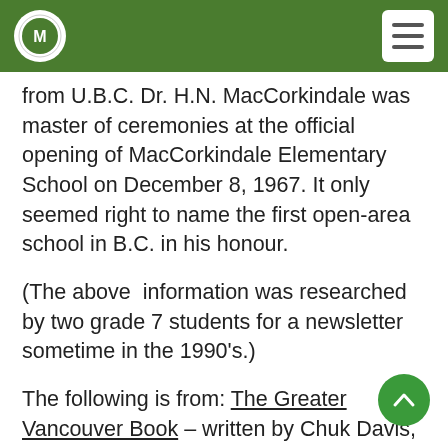MacCorkindale Elementary School website header
from U.B.C. Dr. H.N. MacCorkindale was master of ceremonies at the official opening of MacCorkindale Elementary School on December 8, 1967. It only seemed right to name the first open-area school in B.C. in his honour.
(The above  information was researched by two grade 7 students for a newsletter sometime in the 1990's.)
The following is from: The Greater Vancouver Book – written by Chuk Davis, 1997
Dr. H.N. MacCokrindale Elementary - Dr.